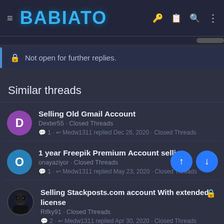BABIATO
Not open for further replies.
Similar threads
Selling Old Gmail Account
Dexter55 · Closed Threads
1 · Medw1311 replied Dec 26, 2020 · Closed Threads
1 year Freepik Premium Account selling
onayaziyor · Closed Threads
1 · Medw1311 replied May 23, 2020 · Closed Threads
Selling Stackposts.com account With extended license
Rifky91 · Closed Threads
2 · Medw1311 replied Apr 30, 2020 · Closed Threads